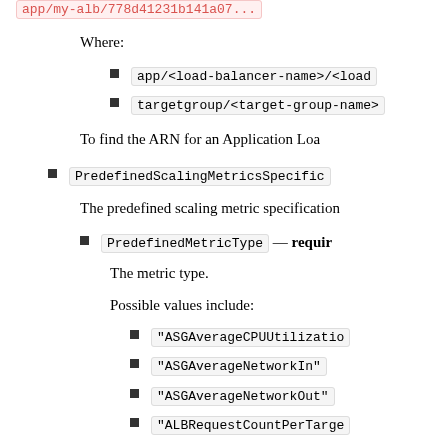app/my-alb/778d41231b141a07...
Where:
app/<load-balancer-name>/<load-balancer-id>
targetgroup/<target-group-name>/<target-group-id>
To find the ARN for an Application Load...
PredefinedScalingMetricSpecification
The predefined scaling metric specification...
PredefinedMetricType — required
The metric type.
Possible values include:
"ASGAverageCPUUtilization"
"ASGAverageNetworkIn"
"ASGAverageNetworkOut"
"ALBRequestCountPerTarget"